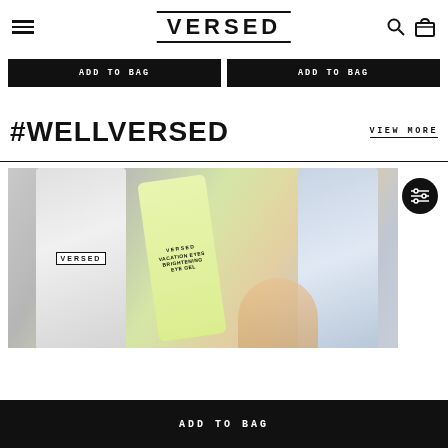VERSED
ADD TO BAG | ADD TO BAG
#WELLVERSED
VIEW MORE
[Figure (photo): Two Versed skincare product bottles and a yellow-green tube labeled 'VACATION EYES BRIGHTENING EYE GEL' by Versed, arranged on a marble surface]
ADD TO BAG